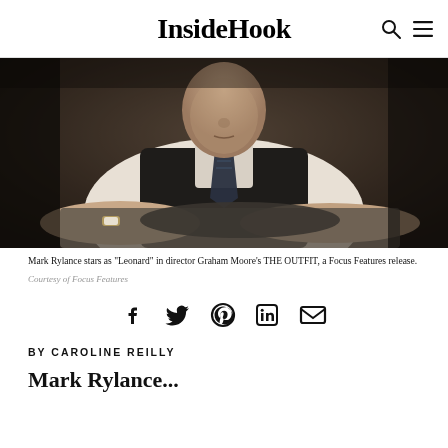InsideHook
[Figure (photo): Mark Rylance as Leonard working at a table, wearing a dark vest over a white shirt with a tie, hands working on fabric, in a dark interior scene from the film THE OUTFIT]
Mark Rylance stars as "Leonard" in director Graham Moore's THE OUTFIT, a Focus Features release.
Courtesy of Focus Features
[Figure (other): Social sharing icons: Facebook, Twitter, Pinterest, LinkedIn, Email]
BY CAROLINE REILLY
Mark Rylance...